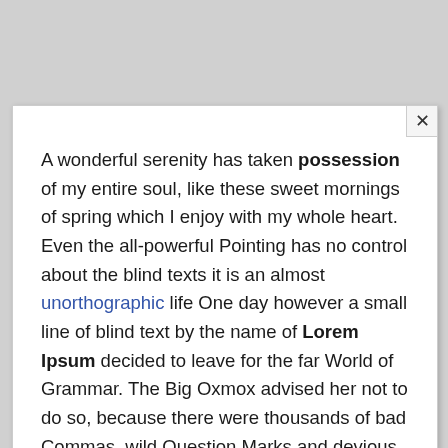A wonderful serenity has taken possession of my entire soul, like these sweet mornings of spring which I enjoy with my whole heart. Even the all-powerful Pointing has no control about the blind texts it is an almost unorthographic life One day however a small line of blind text by the name of Lorem Ipsum decided to leave for the far World of Grammar. The Big Oxmox advised her not to do so, because there were thousands of bad Commas, wild Question Marks and devious Semikoli, but the Little Blind Text didn't listen.